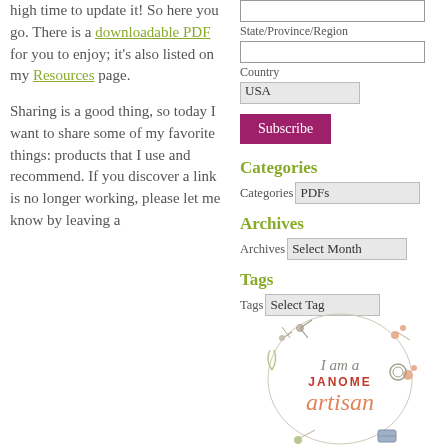high time to update it! So here you go. There is a downloadable PDF for you to enjoy; it's also listed on my Resources page.
Sharing is a good thing, so today I want to share some of my favorite things: products that I use and recommend.  If you discover a link is no longer working, please let me know by leaving a
State/Province/Region
Country
USA
Subscribe
Categories
Categories PDFs
Archives
Archives Select Month
Tags
Tags Select Tag
[Figure (logo): Janome Artisan logo: circular wreath of floral/scissor illustrations with text 'I am a JANOME artisan' in coral/orange and gray lettering]